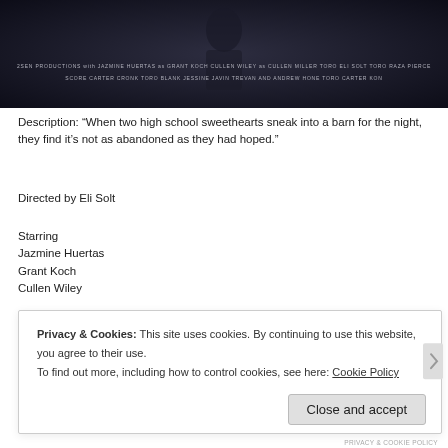[Figure (photo): Dark movie title card / banner with small white production credits text on dark background]
Description: “When two high school sweethearts sneak into a barn for the night, they find it’s not as abandoned as they had hoped.”
Directed by Eli Solt
Starring
Jazmine Huertas
Grant Koch
Cullen Wiley
W... and Director of Photograph...
C...
Privacy & Cookies: This site uses cookies. By continuing to use this website, you agree to their use.
To find out more, including how to control cookies, see here: Cookie Policy
Close and accept